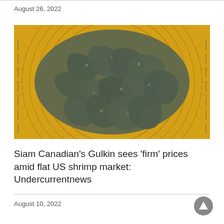August 26, 2022
[Figure (photo): Overhead photo of live shrimp piled in a yellow plastic colander/basket with circular ridged pattern]
Siam Canadian's Gulkin sees 'firm' prices amid flat US shrimp market: Undercurrentnews
August 10, 2022